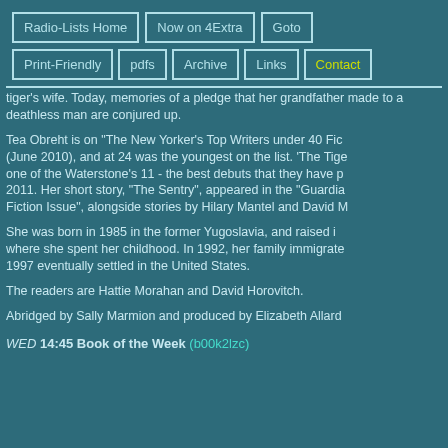Radio-Lists Home | Now on 4Extra | Goto | Print-Friendly | pdfs | Archive | Links | Contact
tiger's wife. Today, memories of a pledge that her grandfather made to a deathless man are conjured up.
Tea Obreht is on "The New Yorker's Top Writers under 40 Fiction" list (June 2010), and at 24 was the youngest on the list. 'The Tiger's Wife' is one of the Waterstone's 11 - the best debuts that they have picked for 2011. Her short story, "The Sentry", appeared in the "Guardian's Summer Fiction Issue", alongside stories by Hilary Mantel and David M
She was born in 1985 in the former Yugoslavia, and raised in a place where she spent her childhood. In 1992, her family immigrated and in 1997 eventually settled in the United States.
The readers are Hattie Morahan and David Horovitch.
Abridged by Sally Marmion and produced by Elizabeth Allard
WED 14:45 Book of the Week (b00k2lzc)